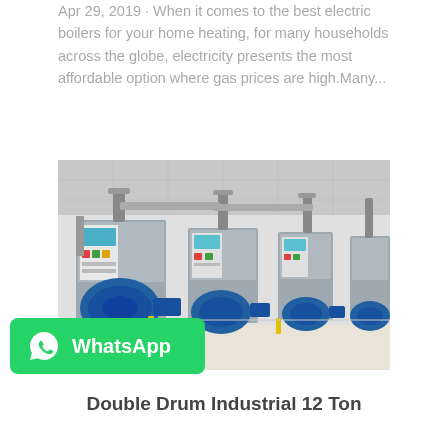Apr 29, 2019 · When it comes to the best electric boilers for your home heating, for many households across the globe, electricity presents the most affordable option where gas prices are high.Many...
Get Price
[Figure (photo): Industrial boiler room with multiple large steam boilers and blue burner units lined up in a row inside a white-walled facility]
[Figure (logo): WhatsApp green badge with phone icon and WhatsApp text]
Double Drum Industrial 12 Ton